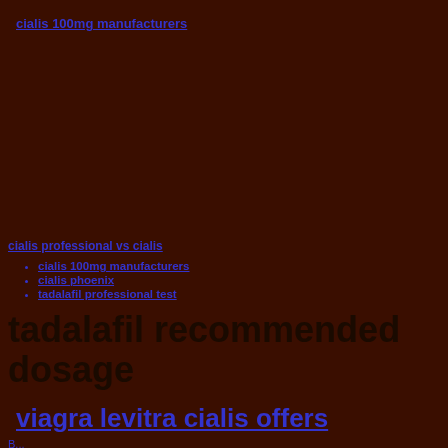cialis 100mg manufacturers
cialis professional vs cialis
cialis 100mg manufacturers
cialis phoenix
tadalafil professional test
tadalafil recommended dosage
viagra levitra cialis offers
B...